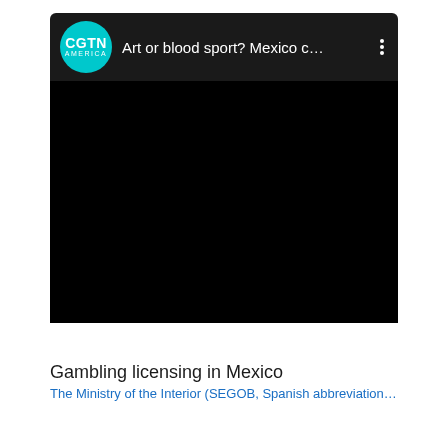[Figure (screenshot): A video card showing CGTN America logo (teal circle with CGTN and AMERICA text) and title 'Art or blood sport? Mexico c...' with three-dot menu on a dark header bar, followed by a black video thumbnail area below.]
Gambling licensing in Mexico
The Ministry of the Interior (SEGOB, Spanish abbreviation)...